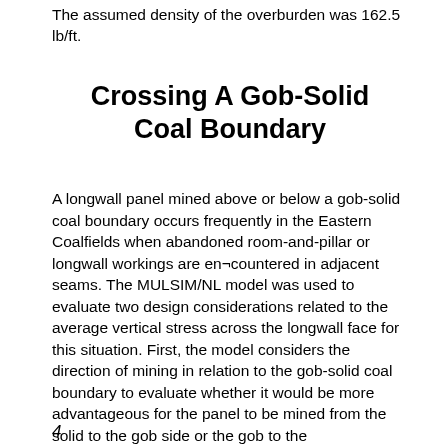The assumed density of the overburden was 162.5 lb/ft.
Crossing A Gob-Solid Coal Boundary
A longwall panel mined above or below a gob-solid coal boundary occurs frequently in the Eastern Coalfields when abandoned room-and-pillar or longwall workings are en¬countered in adjacent seams. The MULSIM/NL model was used to evaluate two design considerations related to the average vertical stress across the longwall face for this situation. First, the model considers the direction of mining in relation to the gob-solid coal boundary to evaluate whether it would be more advantageous for the panel to be mined from the solid to the gob side or the gob to the
4